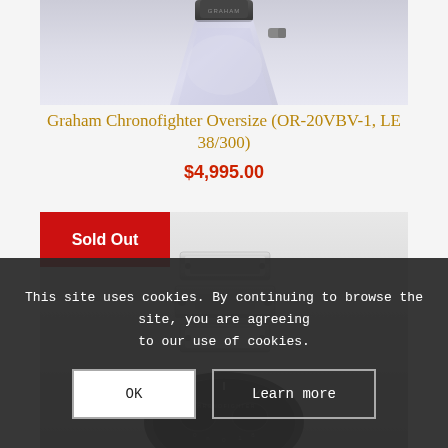[Figure (photo): Product photo of Graham Chronofighter Oversize watch, showing watch crown/crystal detail against a light gray/lavender background]
Graham Chronofighter Oversize (OR-20VBV-1, LE 38/300)
$4,995.00
[Figure (photo): Second product photo showing a watch with metal bracelet/bracelet link detail. Has a red 'Sold Out' badge overlaid in the top-left corner. Watch dial is partially visible at the bottom.]
This site uses cookies. By continuing to browse the site, you are agreeing to our use of cookies.
OK
Learn more